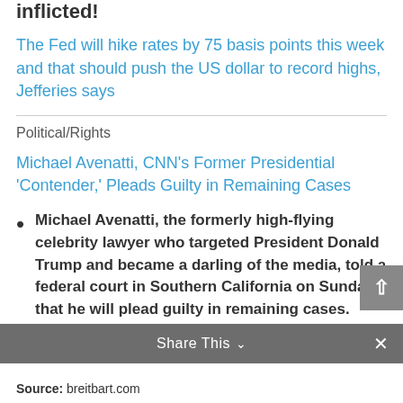inflicted!
The Fed will hike rates by 75 basis points this week and that should push the US dollar to record highs, Jefferies says
Political/Rights
Michael Avenatti, CNN's Former Presidential 'Contender,' Pleads Guilty in Remaining Cases
Michael Avenatti, the formerly high-flying celebrity lawyer who targeted President Donald Trump and became a darling of the media, told a federal court in Southern California on Sunday that he will plead guilty in remaining cases.
Share This ∨  ×
Source: breitbart.com